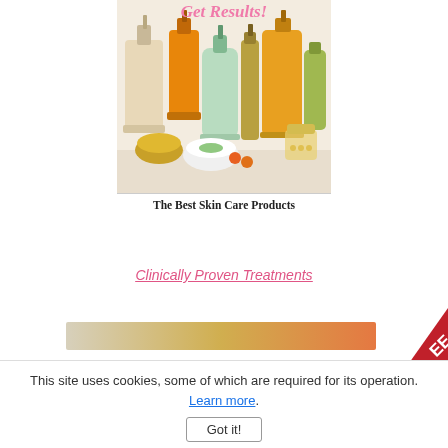[Figure (photo): Advertisement banner showing skin care products (bottles, pumps, containers) with title 'Get Results!' in pink italic at top and caption 'The Best Skin Care Products' at bottom]
Clinically Proven Treatments
[Figure (photo): Partial bottom advertisement image partially visible]
[Figure (other): Red corner badge partially visible in bottom right]
This site uses cookies, some of which are required for its operation. Learn more.
Got it!